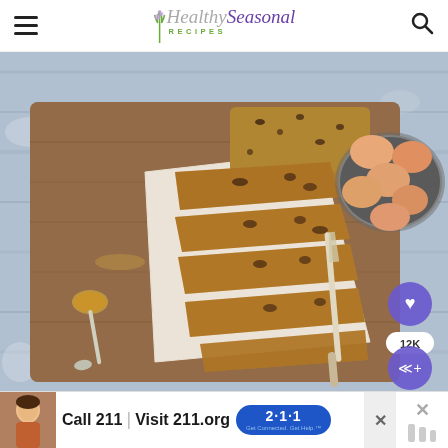Healthy Seasonal Recipes
[Figure (photo): Overhead shot of sliced pumpkin chocolate chip bread on a wooden cutting board with parchment paper, a butter knife, a spoon with spice, and a bowl of eggs on a light blue distressed wood background.]
[Figure (infographic): Ad banner: Call 211 | Visit 211.org with 2-1-1 logo badge, child photo, and close/dismiss buttons]